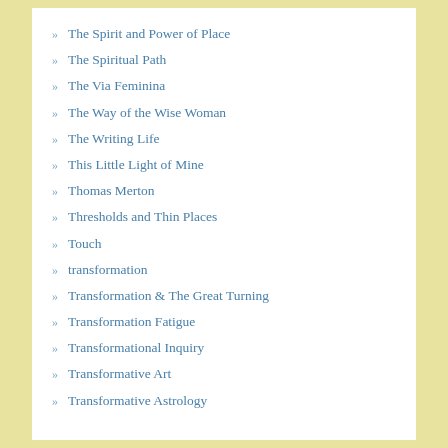The Spirit and Power of Place
The Spiritual Path
The Via Feminina
The Way of the Wise Woman
The Writing Life
This Little Light of Mine
Thomas Merton
Thresholds and Thin Places
Touch
transformation
Transformation & The Great Turning
Transformation Fatigue
Transformational Inquiry
Transformative Art
Transformative Astrology